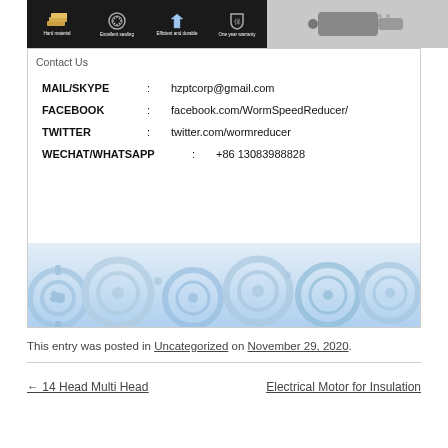[Figure (photo): Product banner with icons: Hard material, Excellent sealing, Efficient and durable, One year warranty on dark background; partial motor image on right]
Contact Us
MAIL/SKYPE : hzptcorp@gmail.com
FACEBOOK : facebook.com/WormSpeedReducer/
TWITTER : twitter.com/wormreducer
WECHAT/WHATSAPP : +86 13083988828
[Figure (illustration): Blue and white gear/cog illustration background decorating the bottom of the contact box]
This entry was posted in Uncategorized on November 29, 2020.
← 14 Head Multi Head
Electrical Motor for Insulation